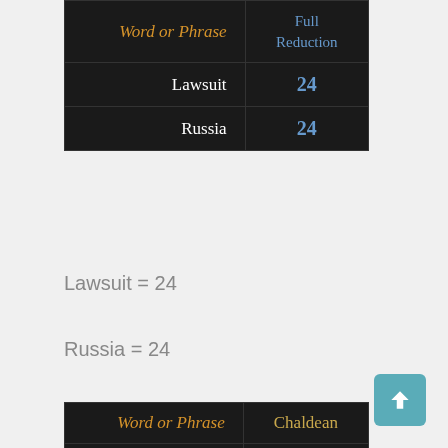| Word or Phrase | Full Reduction |
| --- | --- |
| Lawsuit | 24 |
| Russia | 24 |
Lawsuit = 24
Russia = 24
| Word or Phrase | Chaldean |
| --- | --- |
| Donald | 24 |
| Trump | 24 |
| Lawsuit | 24 |
Donald = 24
Trump = 24